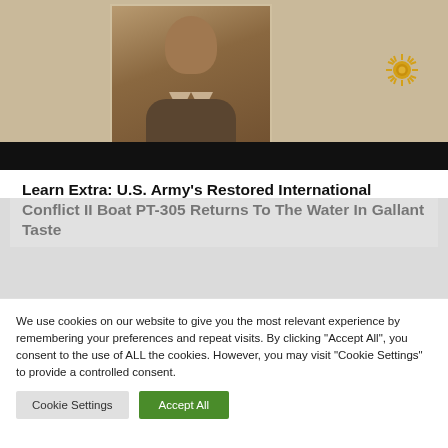[Figure (photo): Sepia-toned portrait photograph of a man in a suit and tie inside a white-bordered frame, with a gold sun emblem to the right, on a tan/beige background with a black bar at the bottom.]
Learn Extra: U.S. Army's Restored International Conflict II Boat PT-305 Returns To The Water In Gallant Taste
We use cookies on our website to give you the most relevant experience by remembering your preferences and repeat visits. By clicking "Accept All", you consent to the use of ALL the cookies. However, you may visit "Cookie Settings" to provide a controlled consent.